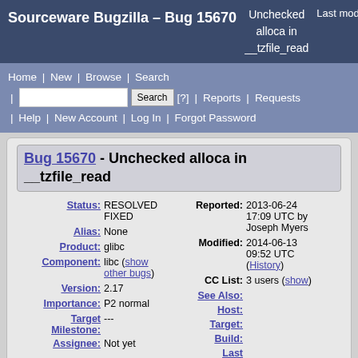Sourceware Bugzilla – Bug 15670 | Unchecked alloca in __tzfile_read | Last modified: 2014-06-
Home | New | Browse | Search | Search | [?] | Reports | Requests | Help | New Account | Log In | Forgot Password
Bug 15670 - Unchecked alloca in __tzfile_read
| Field | Value |
| --- | --- |
| Status: | RESOLVED FIXED |
| Alias: | None |
| Product: | glibc |
| Component: | libc (show other bugs) |
| Version: | 2.17 |
| Importance: | P2 normal |
| Target Milestone: | --- |
| Assignee: | Not yet |
| Reported: | 2013-06-24 17:09 UTC by Joseph Myers |
| Modified: | 2014-06-13 09:52 UTC (History) |
| CC List: | 3 users (show) |
| See Also: |  |
| Host: |  |
| Target: |  |
| Build: |  |
| Last reconfirmed: |  |